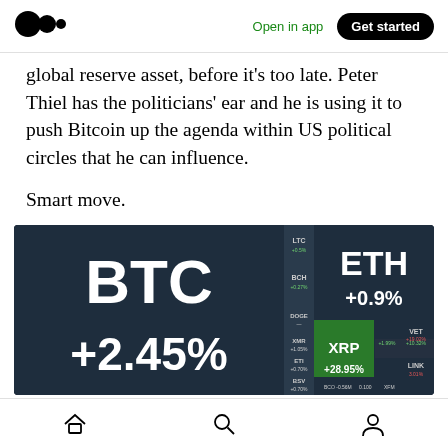Open in app | Get started
global reserve asset, before it's too late. Peter Thiel has the politicians' ear and he is using it to push Bitcoin up the agenda within US political circles that he can influence.
Smart move.
[Figure (screenshot): Cryptocurrency market ticker screenshot showing BTC +2.45%, ETH +0.9%, XRP +28.95%, and other coins (ADA, XLM, VET, LINK, LTC, BCH, etc.) with dark background]
Home | Search | Profile